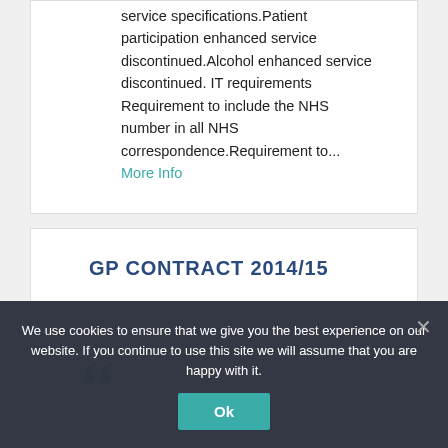service specifications.Patient participation enhanced service discontinued.Alcohol enhanced service discontinued. IT requirements Requirement to include the NHS number in all NHS correspondence.Requirement to... More Info
GP CONTRACT 2014/15
We use cookies to ensure that we give you the best experience on our website. If you continue to use this site we will assume that you are happy with it.